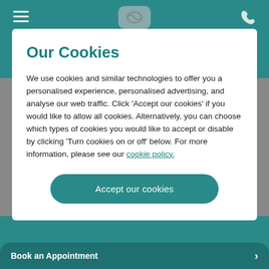[Figure (screenshot): Teal website header background with hamburger menu icon top-left, phone icon top-right, and a logo/icon at the top center]
Our Cookies
We use cookies and similar technologies to offer you a personalised experience, personalised advertising, and analyse our web traffic. Click 'Accept our cookies' if you would like to allow all cookies. Alternatively, you can choose which types of cookies you would like to accept or disable by clicking 'Turn cookies on or off' below. For more information, please see our cookie policy.
Accept our cookies
Book an Appointment